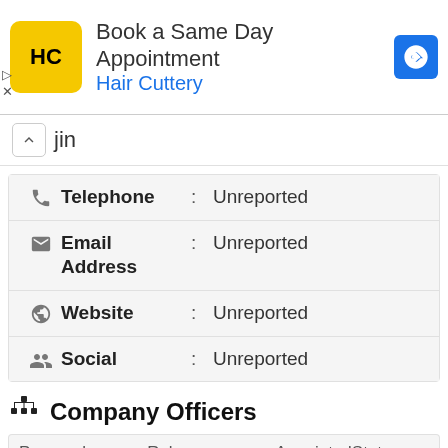[Figure (screenshot): Advertisement banner for Hair Cuttery - Book a Same Day Appointment]
jin
|  |  | Telephone | : | Unreported |
| --- | --- | --- | --- | --- |
| email icon | Email Address | : | Unreported |
| globe icon | Website | : | Unreported |
| people icon | Social | : | Unreported |
Company Officers
| Personal | Role | AppointedStatus |
| --- | --- | --- |